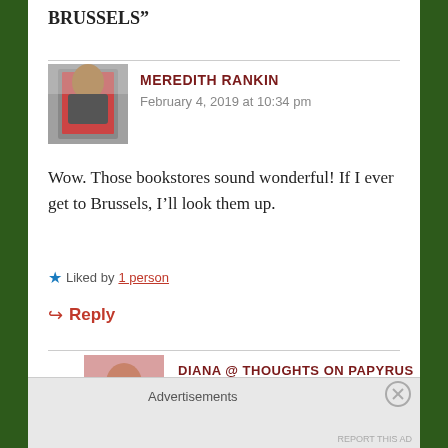BRUSSELS”
[Figure (photo): Avatar photo of Meredith Rankin showing a book cover]
MEREDITH RANKIN
February 4, 2019 at 10:34 pm
Wow. Those bookstores sound wonderful! If I ever get to Brussels, I’ll look them up.
★ Liked by 1 person
↪ Reply
[Figure (photo): Avatar photo of Diana @ Thoughts on Papyrus showing a woman in red]
DIANA @ THOUGHTS ON PAPYRUS
February 4, 2019 at 11:01 pm
Advertisements